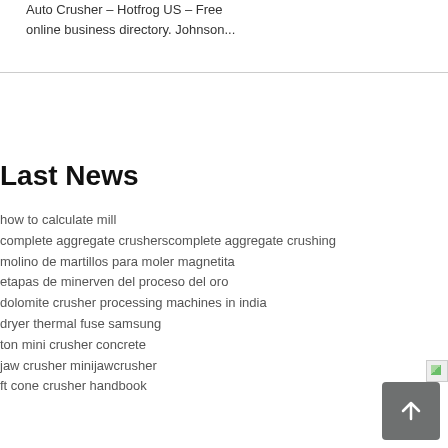Auto Crusher – Hotfrog US – Free online business directory. Johnson...
Last News
how to calculate mill
complete aggregate crusherscomplete aggregate crushing
molino de martillos para moler magnetita
etapas de minerven del proceso del oro
dolomite crusher processing machines in india
dryer thermal fuse samsung
ton mini crusher concrete
jaw crusher minijawcrusher
ft cone crusher handbook